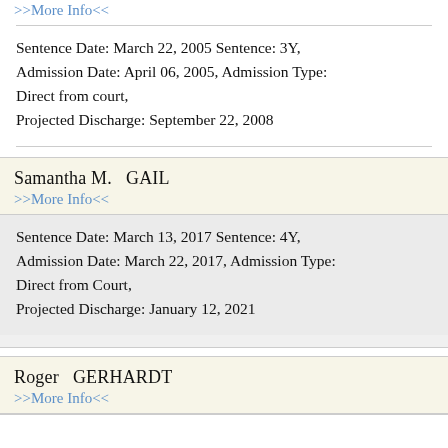>>More Info<<
Sentence Date: March 22, 2005 Sentence: 3Y, Admission Date: April 06, 2005, Admission Type: Direct from court, Projected Discharge: September 22, 2008
Samantha M.   GAIL
>>More Info<<
Sentence Date: March 13, 2017 Sentence: 4Y, Admission Date: March 22, 2017, Admission Type: Direct from Court, Projected Discharge: January 12, 2021
Roger   GERHARDT
>>More Info<<